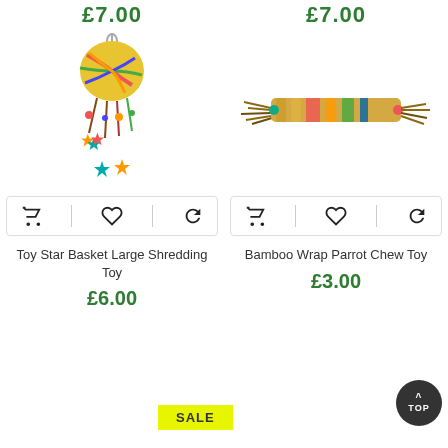£7.00
£7.00
[Figure (photo): Colorful parrot toy - Toy Star Basket Large Shredding Toy with woven star shapes and dangling tassels]
[Figure (photo): Colorful Bamboo Wrap Parrot Chew Toy with woven bamboo and tassels]
Toy Star Basket Large Shredding Toy
£6.00
Bamboo Wrap Parrot Chew Toy
£3.00
SALE